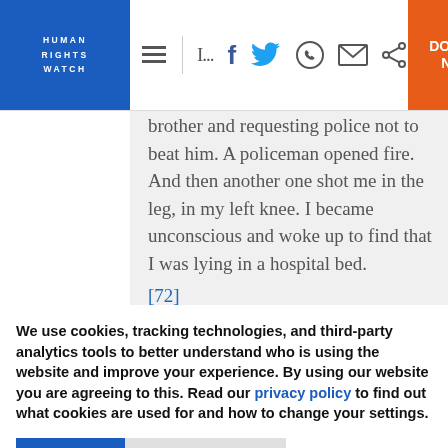HUMAN RIGHTS WATCH — Navigation bar with logo, social icons, and DONATE NOW button
brother and requesting police not to beat him. A policeman opened fire. And then another one shot me in the leg, in my left knee. I became unconscious and woke up to find that I was lying in a hospital bed. [72]
We use cookies, tracking technologies, and third-party analytics tools to better understand who is using the website and improve your experience. By using our website you are agreeing to this. Read our privacy policy to find out what cookies are used for and how to change your settings.
Accept | Other options